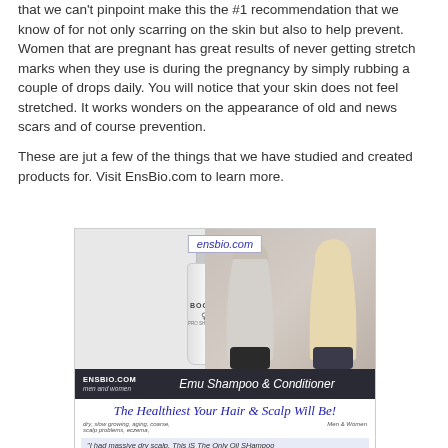that we can't pinpoint make this the #1 recommendation that we know of for not only scarring on the skin but also to help prevent. Women that are pregnant has great results of never getting stretch marks when they use is during the pregnancy by simply rubbing a couple of drops daily. You will notice that your skin does not feel stretched. It works wonders on the appearance of old and news scars and of course prevention.
These are jut a few of the things that we have studied and created products for. Visit EnsBio.com to learn more.
[Figure (photo): Advertisement for EnsBio.com Emu Shampoo & Conditioner. Shows two white BOOST shampoo/conditioner bottles on the left, and two women with long blonde/light hair shown from behind on the right. Dark banner reads 'ENSBIO.com men and women — Emu Shampoo & Conditioner'. Below in blue italic script: 'The Healthiest Your Hair & Scalp Will Be!' with conditions listed: dry, slow growing, aging, coarse, scalp problems, eczema. Men & Women. Testimonial snippet: 'I had massive dry scalp. This iS The Only Oil SHampoo'.]